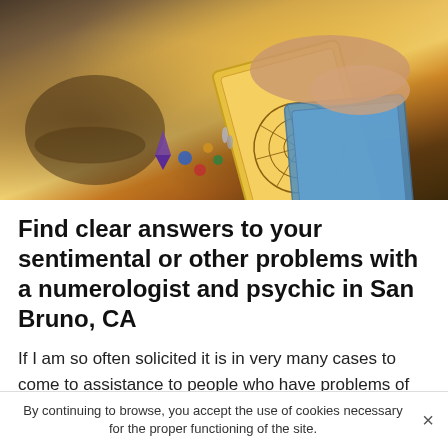[Figure (photo): Close-up photo of hands holding a tarot card over a wooden table with colorful crystals, gemstone charms, and a small bowl. The tarot card features yellow/orange colors with a geometric mandala pattern. Multiple crystals in purple, blue, red, green, and amber are scattered on the table.]
Find clear answers to your sentimental or other problems with a numerologist and psychic in San Bruno, CA
If I am so often solicited it is in very many cases to come to assistance to people who have problems of couple or sentimental life. Indeed, a lot of questions revolve around love, whether it is about finding the right person to have a
By continuing to browse, you accept the use of cookies necessary for the proper functioning of the site.